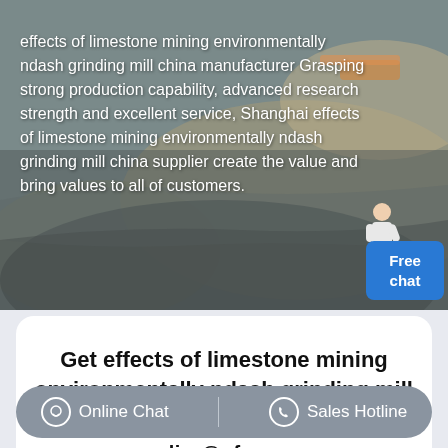[Figure (photo): Aerial view of a limestone mining quarry with dark rocky terrain and earth-moving operations. White text overlay describes the company's capabilities.]
effects of limestone mining environmentally ndash grinding mill china manufacturer Grasping strong production capability, advanced research strength and excellent service, Shanghai effects of limestone mining environmentally ndash grinding mill china supplier create the value and bring values to all of customers.
Get effects of limestone mining environmentally ndash grinding mill china Price
supplier@pfpew.com
Online Chat | Sales Hotline